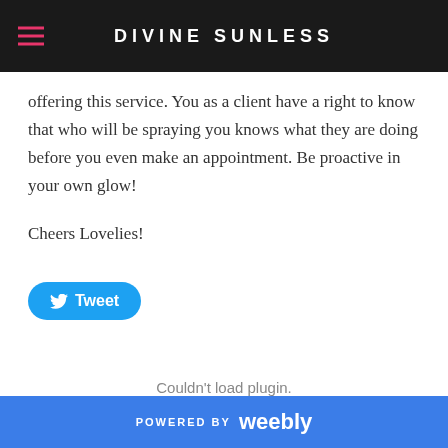DIVINE SUNLESS
offering this service. You as a client have a right to know that who will be spraying you knows what they are doing before you even make an appointment. Be proactive in your own glow!
Cheers Lovelies!
[Figure (other): Tweet button with Twitter bird icon]
Couldn't load plugin.
POWERED BY weebly